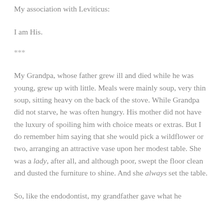My association with Leviticus:
I am His.
***
My Grandpa, whose father grew ill and died while he was young, grew up with little. Meals were mainly soup, very thin soup, sitting heavy on the back of the stove. While Grandpa did not starve, he was often hungry. His mother did not have the luxury of spoiling him with choice meats or extras. But I do remember him saying that she would pick a wildflower or two, arranging an attractive vase upon her modest table. She was a lady, after all, and although poor, swept the floor clean and dusted the furniture to shine. And she always set the table.
So, like the endodontist, my grandfather gave what he